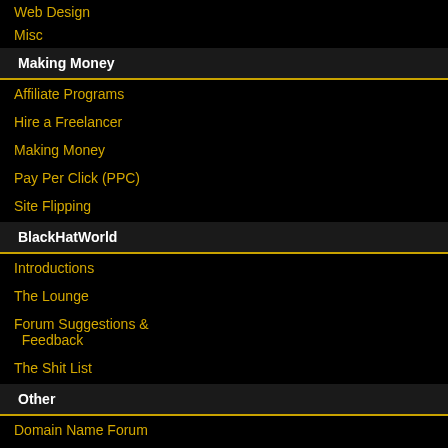Web Design
Misc
Making Money
Affiliate Programs
Hire a Freelancer
Making Money
Pay Per Click (PPC)
Site Flipping
BlackHatWorld
Introductions
The Lounge
Forum Suggestions & Feedback
The Shit List
Other
Domain Name Forum
IM Journeys
Web Hosting
[Figure (illustration): Forum post header image thumbnail]
Re: Mirillis splash pro hd
Well, apparently looking bad) :)
The Following 20 Users Say
Absurtuk ,bassi.amitad ,check gseo ,madam ,mindmaster ,m
26:8:2022 ,  02:35 PM
SRkrishnan • Gosocials Donor